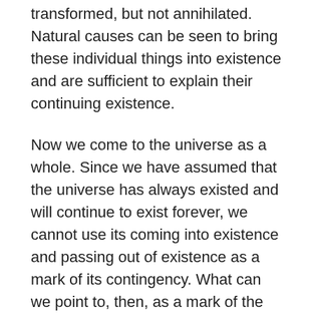transformed, but not annihilated. Natural causes can be seen to bring these individual things into existence and are sufficient to explain their continuing existence.
Now we come to the universe as a whole. Since we have assumed that the universe has always existed and will continue to exist forever, we cannot use its coming into existence and passing out of existence as a mark of its contingency. What can we point to, then, as a mark of the universe's contingency and, moreover, its fundamental contingency at that?
We have assumed that the universe as a whole is uncreated; no initial creation of the universe took place. Assuming that, we are left, however, with a question regarding the continuing existence of the universe and an efficient cause for its perpetuation in that state. We need a justification for thinking